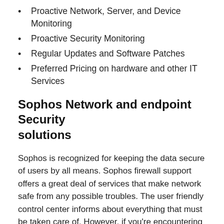Proactive Network, Server, and Device Monitoring
Proactive Security Monitoring
Regular Updates and Software Patches
Preferred Pricing on hardware and other IT Services
Sophos Network and endpoint Security solutions
Sophos is recognized for keeping the data secure of users by all means. Sophos firewall support offers a great deal of services that make network safe from any possible troubles. The user friendly control center informs about everything that must be taken care of. However, if you’re encountering any sort of challenges in deciding the right firewall partner or installing the firewall, then get in touch with the team of experts.